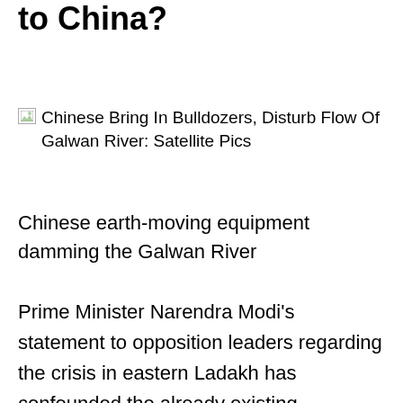to China?
[Figure (photo): Broken image placeholder with alt text: Chinese Bring In Bulldozers, Disturb Flow Of Galwan River: Satellite Pics]
Chinese earth-moving equipment damming the Galwan River
Prime Minister Narendra Modi’s statement to opposition leaders regarding the crisis in eastern Ladakh has confounded the already existing confusion. His declaration, without mentioning China, that “No one has forcibly entered into Indian territory, there is no intruder inside our border, nor has any Indian post been captured by anyone” is contradicted by commercially obtained satellite imagery featured in television news reports. These